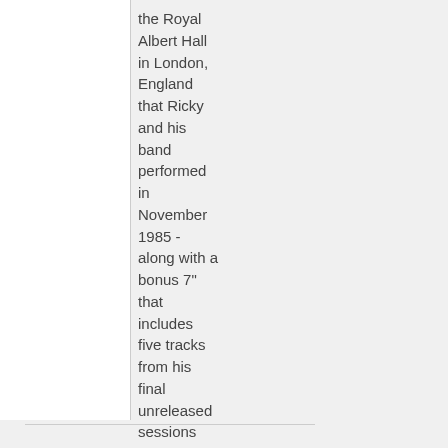the Royal Albert Hall in London, England that Ricky and his band performed in November 1985 - along with a bonus 7" that includes five tracks from his final unreleased sessions from ... read more »